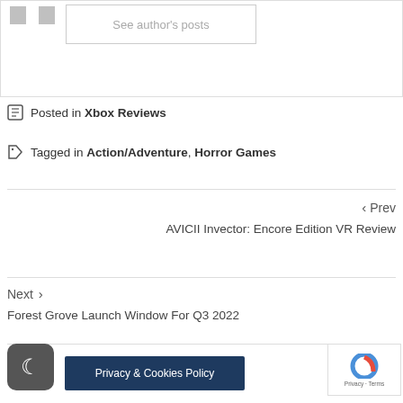[Figure (screenshot): Author box with gray placeholder icons and 'See author's posts' button]
Posted in Xbox Reviews
Tagged in Action/Adventure, Horror Games
< Prev
AVICII Invector: Encore Edition VR Review
Next >
Forest Grove Launch Window For Q3 2022
[Figure (screenshot): Dark mode toggle button (moon icon)]
Privacy & Cookies Policy
[Figure (screenshot): reCAPTCHA badge with Privacy · Terms]